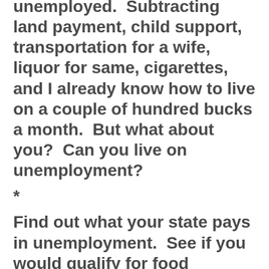unemployed.  Subtracting land payment, child support, transportation for a wife, liquor for same, cigarettes, and I already know how to live on a couple of hundred bucks a month.  But what about you?  Can you live on unemployment?
*
Find out what your state pays in unemployment.  See if you would qualify for food stamps.  Add in the amount you have saved.  Now, go open a separate savings account ( or, if you prefer, just stuff an envelope with cash you keep at home.  The point is to tally your results ).  With your still regular employment, take